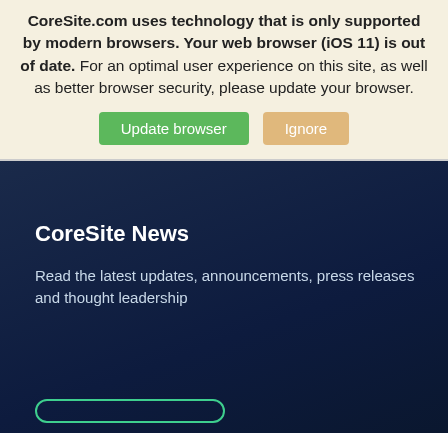CoreSite.com uses technology that is only supported by modern browsers. Your web browser (iOS 11) is out of date. For an optimal user experience on this site, as well as better browser security, please update your browser.
[Figure (screenshot): Two buttons: 'Update browser' (green) and 'Ignore' (orange/tan)]
CoreSite News
Read the latest updates, announcements, press releases and thought leadership